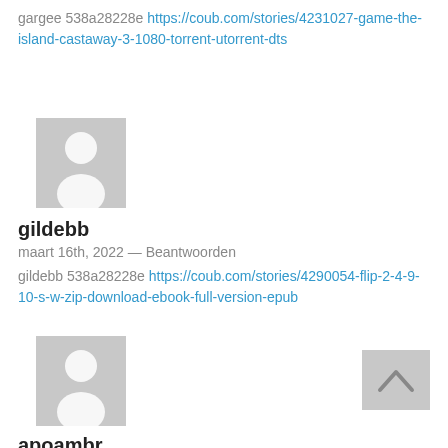gargee 538a28228e https://coub.com/stories/4231027-game-the-island-castaway-3-1080-torrent-utorrent-dts
[Figure (illustration): Grey avatar placeholder with white silhouette person icon]
gildebb
maart 16th, 2022 — Beantwoorden
gildebb 538a28228e https://coub.com/stories/4290054-flip-2-4-9-10-s-w-zip-download-ebook-full-version-epub
[Figure (illustration): Grey avatar placeholder with white silhouette person icon]
apoambr
maart 16th, 2022 — Beantwoorden